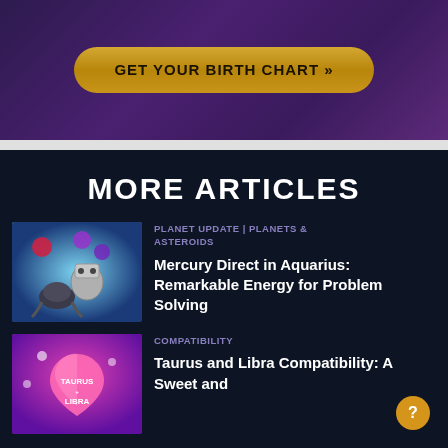[Figure (illustration): Purple gradient banner background with a gold oval button labeled 'GET YOUR BIRTH CHART »']
MORE ARTICLES
[Figure (illustration): Thumbnail image with blue-teal background showing a robot and person figure with purple orbs]
PLANET UPDATE | PLANETS & ASTEROIDS
Mercury Direct in Aquarius: Remarkable Energy for Problem Solving
[Figure (illustration): Thumbnail image with pink/magenta background showing a large heart with 'TAURUS + LIBRA' text]
COMPATIBILITY
Taurus and Libra Compatibility: A Sweet and